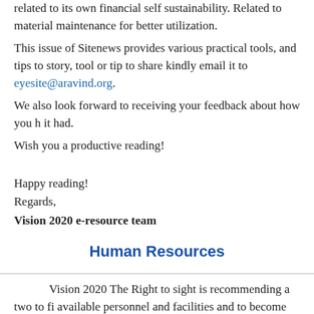related to its own financial self sustainability. Related to material maintenance for better utilization.
This issue of Sitenews provides various practical tools, and tips to story, tool or tip to share kindly email it to eyesite@aravind.org.
We also look forward to receiving your feedback about how you have found it had.
Wish you a productive reading!
Happy reading!
Regards,
Vision 2020 e-resource team
Human Resources
Vision 2020 The Right to sight is recommending a two to fi available personnel and facilities and to become organized to reach staff, and engagement with communities in ways that stimulate peo programme being capable of sustaining itself from modest patient